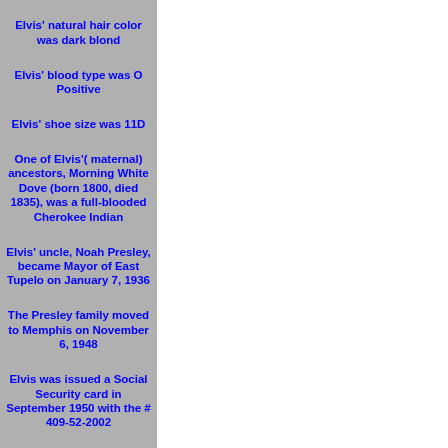Elvis' natural hair color was dark blond
Elvis' blood type was O Positive
Elvis' shoe size was 11D
One of Elvis'( maternal) ancestors, Morning White Dove (born 1800, died 1835), was a full-blooded Cherokee Indian
Elvis' uncle, Noah Presley, became Mayor of East Tupelo on January 7, 1936
The Presley family moved to Memphis on November 6, 1948
Elvis was issued a Social Security card in September 1950 with the # 409-52-2002